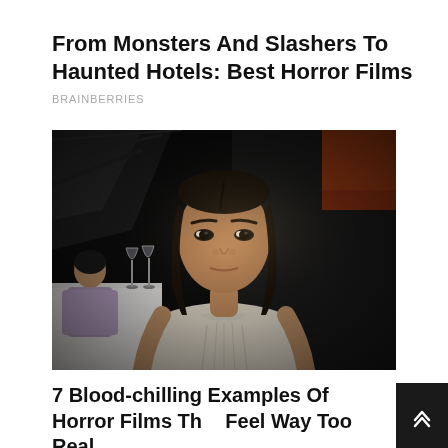From Monsters And Slashers To Haunted Hotels: Best Horror Films
BRAINBERRIES
[Figure (photo): A young Asian woman in a cream/beige loose top sitting in what appears to be a dimly lit restaurant. In the background to the left, another person is seated at a white-clothed table with wine glasses. The background is dark with dramatic lighting.]
7 Blood-chilling Examples Of Horror Films That Feel Way Too Real